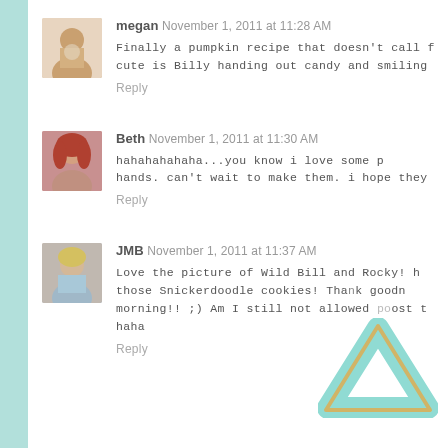[Figure (other): Teal/mint vertical bar on left edge of page]
megan November 1, 2011 at 11:28 AM
Finally a pumpkin recipe that doesn't call f... cute is Billy handing out candy and smiling...
Reply
Beth November 1, 2011 at 11:30 AM
hahahahahaha...you know i love some p... hands. can't wait to make them. i hope they...
Reply
JMB November 1, 2011 at 11:37 AM
Love the picture of Wild Bill and Rocky! h... those Snickerdoodle cookies! Thank goodn... morning!! ;) Am I still not allowed to post t... haha
Reply
[Figure (illustration): Gold/teal triangle watermark overlay in bottom right area]